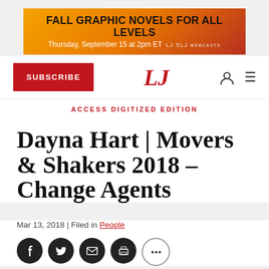[Figure (other): Advertisement banner: FALL GRAPHIC NOVELS FOR ALL LEVELS, Thursday, September 15 at 2pm ET, LJ SLJ Webcasts]
[Figure (other): Navigation bar with SUBSCRIBE button, LJ logo in red, user icon, and hamburger menu icon]
ACCESS DIGITIZED EDITION
Dayna Hart | Movers & Shakers 2018 – Change Agents
Mar 13, 2018 | Filed in People
[Figure (other): Social media share icons: Facebook, Twitter, Email, Print, and one more circle icon]